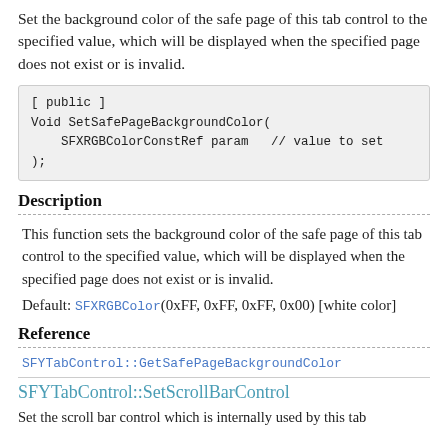Set the background color of the safe page of this tab control to the specified value, which will be displayed when the specified page does not exist or is invalid.
Description
This function sets the background color of the safe page of this tab control to the specified value, which will be displayed when the specified page does not exist or is invalid.
Default: SFXRGBColor(0xFF, 0xFF, 0xFF, 0x00) [white color]
Reference
SFYTabControl::GetSafePageBackgroundColor
SFYTabControl::SetScrollBarControl
Set the scroll bar control which is internally used by this tab